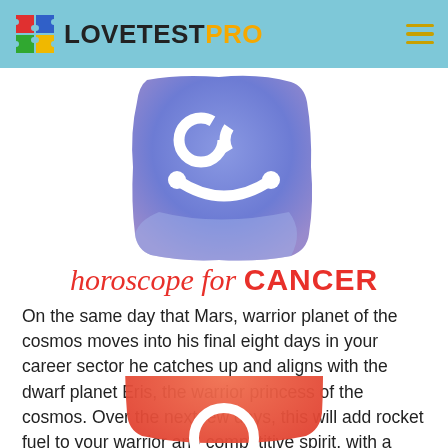LOVETESTPRO
[Figure (illustration): Cancer zodiac sign icon — white crab/cancer symbol on a blue-purple watercolor painted square background]
horoscope for CANCER
On the same day that Mars, warrior planet of the cosmos moves into his final eight days in your career sector he catches up and aligns with the dwarf planet Eris, the warrior princess of the cosmos. Over the next few days, this will add rocket fuel to your warrior and competitive spirit, with a chance to gain maximum momentum before things ease back again. - by your best friend astrologer
[Figure (illustration): Zodiac sign icon on orange-red watercolor painted square background, partially visible at bottom of page]